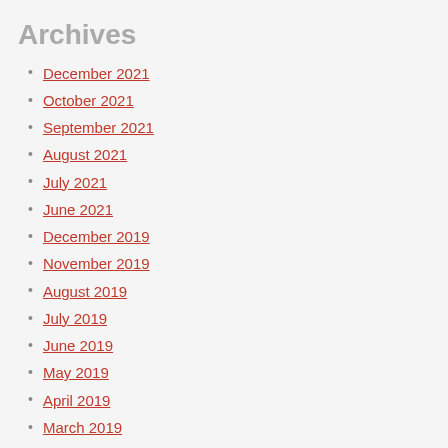Archives
December 2021
October 2021
September 2021
August 2021
July 2021
June 2021
December 2019
November 2019
August 2019
July 2019
June 2019
May 2019
April 2019
March 2019
February 2019
January 2019
December 2018
November 2018
October 2018
September 2018
August 2018
July 2018
June 2018